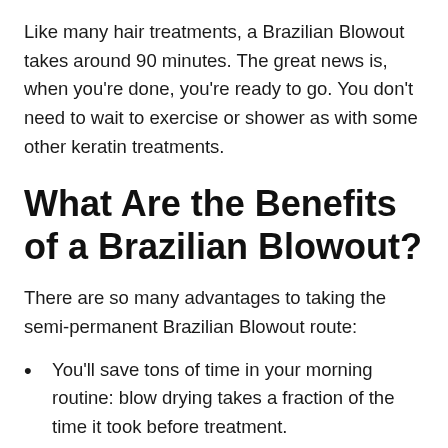Like many hair treatments, a Brazilian Blowout takes around 90 minutes. The great news is, when you're done, you're ready to go. You don't need to wait to exercise or shower as with some other keratin treatments.
What Are the Benefits of a Brazilian Blowout?
There are so many advantages to taking the semi-permanent Brazilian Blowout route:
You'll save tons of time in your morning routine: blow drying takes a fraction of the time it took before treatment.